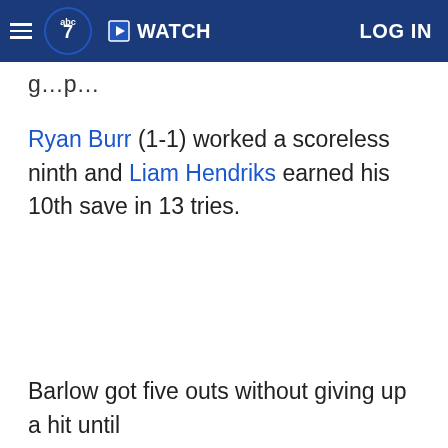abc7 | WATCH | LOG IN
g…p…
Ryan Burr (1-1) worked a scoreless ninth and Liam Hendriks earned his 10th save in 13 tries.
Barlow got five outs without giving up a hit until